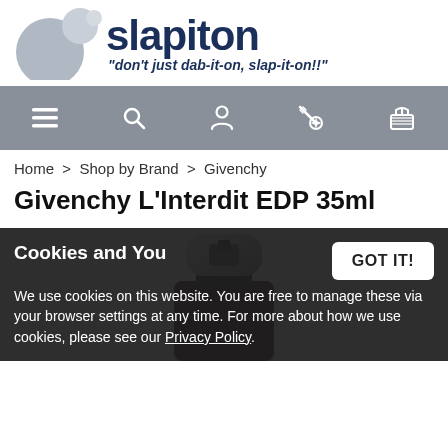[Figure (logo): Slapiton logo with bubble circles on left, bold dark blue 'slapiton' text, italic tagline 'don't just dab-it-on, slap-it-on!!']
Navigation bar with menu, search, account, wishlist, and cart icons
Home > Shop by Brand > Givenchy
Givenchy L'Interdit EDP 35ml
[Figure (photo): Partial view of a dark Givenchy L'Interdit perfume bottle, showing the cap and top portion]
Cookies and You
We use cookies on this website. You are free to manage these via your browser settings at any time. For more about how we use cookies, please see our Privacy Policy.